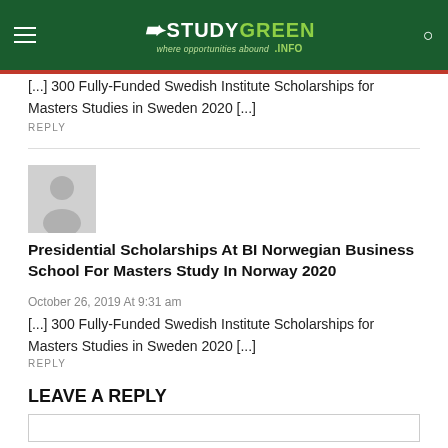[Figure (logo): StudyGreen.info logo with white figure icon on dark green header with hamburger menu and search icon]
[...] 300 Fully-Funded Swedish Institute Scholarships for Masters Studies in Sweden 2020 [...]
REPLY
[Figure (illustration): Default grey user avatar placeholder image]
Presidential Scholarships At BI Norwegian Business School For Masters Study In Norway 2020
October 26, 2019 At 9:31 am
[...] 300 Fully-Funded Swedish Institute Scholarships for Masters Studies in Sweden 2020 [...]
REPLY
LEAVE A REPLY